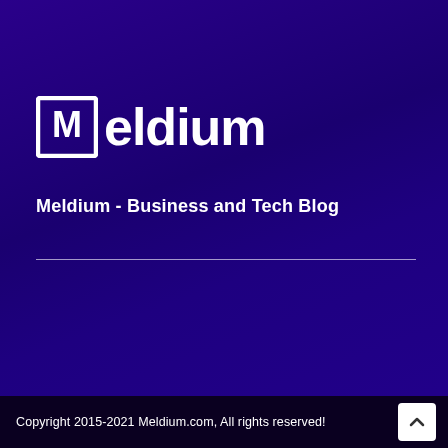[Figure (logo): Meldium logo — white square bracket icon with letter M, followed by the word 'eldium' in white bold text]
Meldium - Business and Tech Blog
Copyright 2015-2021 Meldium.com, All rights reserved!